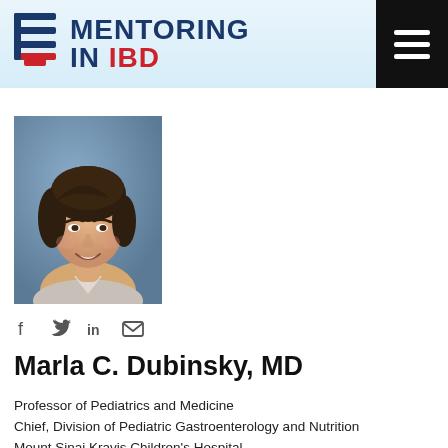MENTORING IN IBD
[Figure (photo): Professional headshot of Marla C. Dubinsky, MD — a woman with short dark hair wearing a light-colored top, smiling, against a blue-grey studio background.]
Marla C. Dubinsky, MD
Professor of Pediatrics and Medicine
Chief, Division of Pediatric Gastroenterology and Nutrition
Mount Sinai Kravis Children's Hospital